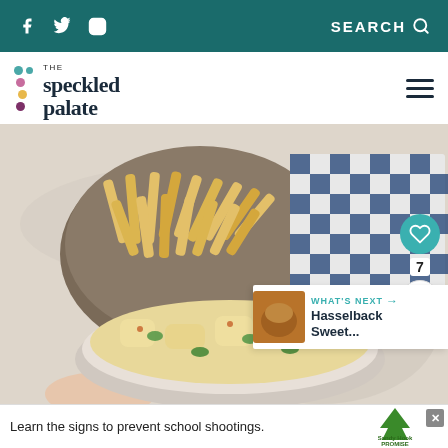f  Twitter  Instagram   SEARCH
[Figure (logo): The Speckled Palate logo with colorful dots and serif text]
[Figure (photo): Overhead view of a bowl of potato salad with green onions and paprika, alongside a bowl of french fries on a marble surface with a blue and white checkered cloth]
WHAT'S NEXT → Hasselback Sweet...
Learn the signs to prevent school shootings.
[Figure (logo): Sandy Hook Promise logo with green tree]